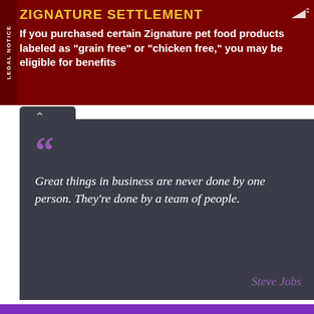[Figure (infographic): Dark red advertisement banner for Zignature Settlement with 'LEGAL NOTICE' vertical tab on left side. Yellow title 'ZIGNATURE SETTLEMENT' and white body text about pet food class action.]
ZIGNATURE SETTLEMENT
If you purchased certain Zignature pet food products labeled as “grain free” or “chicken free,” you may be eligible for benefits
[Figure (infographic): Dark gray quote block with large purple quotation marks and white italic quote text. Attribution in purple italic reads 'Steve Jobs'.]
Great things in business are never done by one person. They’re done by a team of people.
Steve Jobs
We use cookies on our website to give you the most relevant experience by remembering your preferences and repeat visits. By clicking “Accept All”, you consent to the use of ALL the cookies. However, you may visit “Cookie Settings” to provide a controlled consent.